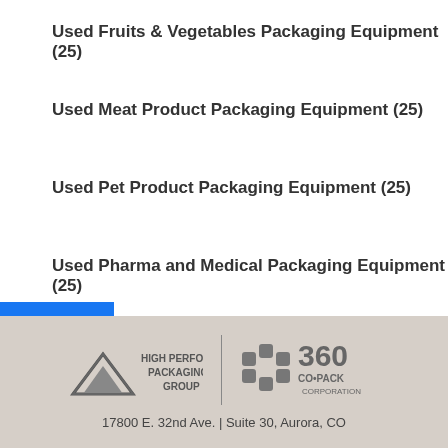Used Fruits & Vegetables Packaging Equipment (25)
Used Meat Product Packaging Equipment (25)
Used Pet Product Packaging Equipment (25)
Used Pharma and Medical Packaging Equipment (25)
Used Soaps, Detergents and Household Goods Packaging Equipment (25)
[Figure (logo): High Performance Packaging Group and 360 CO-PACK Corporation logos with address: 17800 E. 32nd Ave. | Suite 30, Aurora, CO]